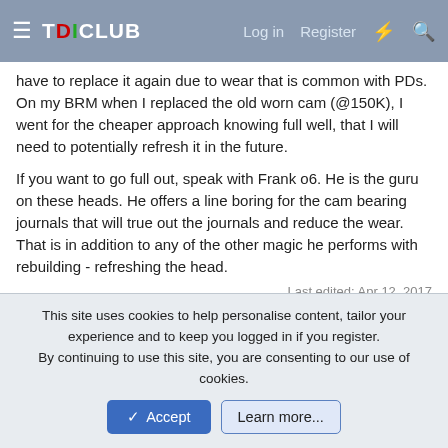TDICLUB — Log in  Register
have to replace it again due to wear that is common with PDs. On my BRM when I replaced the old worn cam (@150K), I went for the cheaper approach knowing full well, that I will need to potentially refresh it in the future.

If you want to go full out, speak with Frank o6. He is the guru on these heads. He offers a line boring for the cam bearing journals that will true out the journals and reduce the wear. That is in addition to any of the other magic he performs with rebuilding - refreshing the head.
Last edited: Apr 12, 2017
MP517PRCT
Veteran Member
This site uses cookies to help personalise content, tailor your experience and to keep you logged in if you register.
By continuing to use this site, you are consenting to our use of cookies.